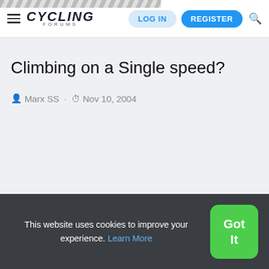CYCLING FORUMS — LOG IN | REGISTER
Climbing on a Single speed?
Marx SS · Nov 10, 2004
This website uses cookies to improve your experience. Learn More  Got It